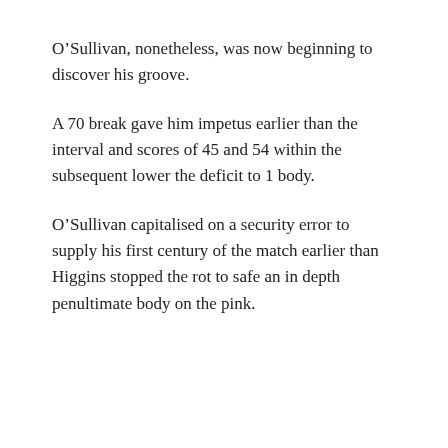O’Sullivan, nonetheless, was now beginning to discover his groove.
A 70 break gave him impetus earlier than the interval and scores of 45 and 54 within the subsequent lower the deficit to 1 body.
O’Sullivan capitalised on a security error to supply his first century of the match earlier than Higgins stopped the rot to safe an in depth penultimate body on the pink.